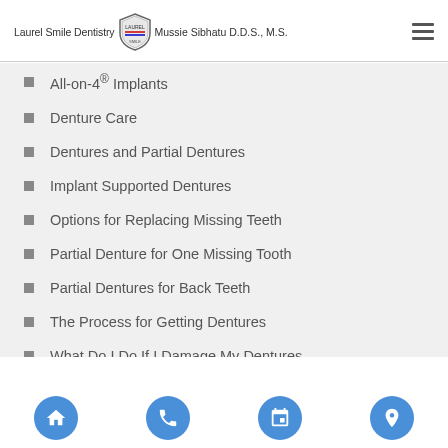Laurel Smile Dentistry | Mussie Sibhatu D.D.S., M.S.
All-on-4® Implants
Denture Care
Dentures and Partial Dentures
Implant Supported Dentures
Options for Replacing Missing Teeth
Partial Denture for One Missing Tooth
Partial Dentures for Back Teeth
The Process for Getting Dentures
What Do I Do If I Damage My Dentures